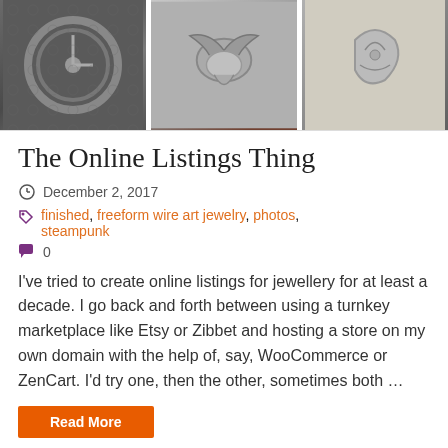[Figure (photo): Three jewelry photos in a horizontal strip: left shows antique clockwork/gear jewelry on dark patterned fabric, center shows a flying pig or animal with wings silver charm pendant, right shows a silver decorative charm piece on light background.]
The Online Listings Thing
December 2, 2017
finished, freeform wire art jewelry, photos, steampunk
0
I've tried to create online listings for jewellery for at least a decade. I go back and forth between using a turnkey marketplace like Etsy or Zibbet and hosting a store on my own domain with the help of, say, WooCommerce or ZenCart. I'd try one, then the other, sometimes both …